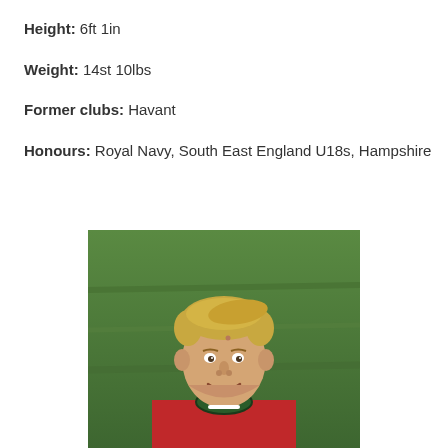Height: 6ft 1in
Weight: 14st 10lbs
Former clubs: Havant
Honours: Royal Navy, South East England U18s, Hampshire
[Figure (photo): A young male rugby player with blonde hair, smiling, wearing a red and green rugby jersey, photographed against a green grass background.]